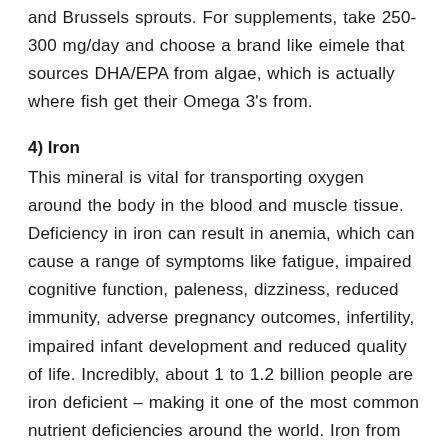and Brussels sprouts. For supplements, take 250-300 mg/day and choose a brand like eimele that sources DHA/EPA from algae, which is actually where fish get their Omega 3's from.
4) Iron
This mineral is vital for transporting oxygen around the body in the blood and muscle tissue. Deficiency in iron can result in anemia, which can cause a range of symptoms like fatigue, impaired cognitive function, paleness, dizziness, reduced immunity, adverse pregnancy outcomes, infertility, impaired infant development and reduced quality of life. Incredibly, about 1 to 1.2 billion people are iron deficient – making it one of the most common nutrient deficiencies around the world. Iron from plant foods, or non-heme iron, isn't absorbed as well as iron from animal foods, or heme iron. To account for the different absorption rates, those who eat plant-based need to eat about 1.8x the normal RDI, which is why it's important that your diet has plenty of iron-rich foods. So